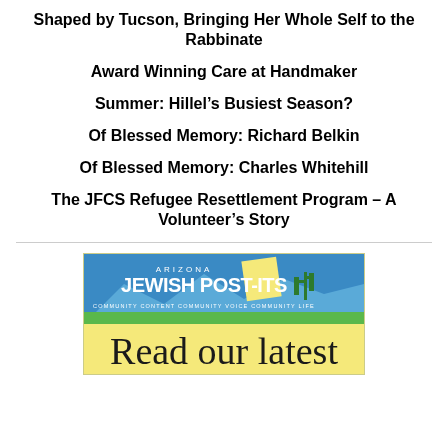Shaped by Tucson, Bringing Her Whole Self to the Rabbinate
Award Winning Care at Handmaker
Summer: Hillel’s Busiest Season?
Of Blessed Memory: Richard Belkin
Of Blessed Memory: Charles Whitehill
The JFCS Refugee Resettlement Program – A Volunteer’s Story
[Figure (logo): Arizona Jewish Post-Its logo with mountain background and tagline: Community Content. Community Voice. Community Life.]
Read our latest